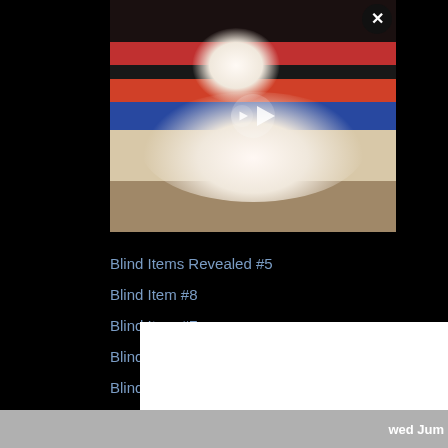[Figure (screenshot): Video thumbnail of a white fluffy dog lying down wearing a red bandana, with a play button overlay. A close/X button is in the top right corner.]
Blind Items Revealed #5
Blind Item #8
Blind Item #7
Blind Item #6
Blind Item #5
Blind Items Revealed #4
Blind Items Revealed #3
Blind Items Revealed #2
Blind Items Revealed #1
Blind Item #4
Blind Item #3
Bli...
Bli...
[Figure (screenshot): Video thumbnail showing a monkey or animal on what appears to be a surface or ledge, dark/blurry image.]
[Figure (screenshot): White popup/ad overlay with an X close button. Bottom bar partially visible with text ending in 'wed Jum'.]